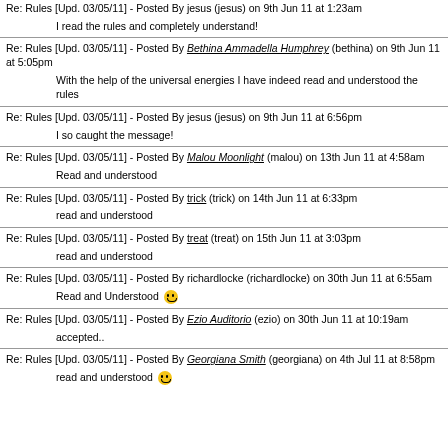Re: Rules [Upd. 03/05/11] - Posted By jesus (jesus) on 9th Jun 11 at 1:23am
    I read the rules and completely understand!
Re: Rules [Upd. 03/05/11] - Posted By Bethina Ammadella Humphrey (bethina) on 9th Jun 11 at 5:05pm
    With the help of the universal energies I have indeed read and understood the rules
Re: Rules [Upd. 03/05/11] - Posted By jesus (jesus) on 9th Jun 11 at 6:56pm
    I so caught the message!
Re: Rules [Upd. 03/05/11] - Posted By Malou Moonlight (malou) on 13th Jun 11 at 4:58am
    Read and understood
Re: Rules [Upd. 03/05/11] - Posted By trick (trick) on 14th Jun 11 at 6:33pm
    read and understood
Re: Rules [Upd. 03/05/11] - Posted By treat (treat) on 15th Jun 11 at 3:03pm
    read and understood
Re: Rules [Upd. 03/05/11] - Posted By richardlocke (richardlocke) on 30th Jun 11 at 6:55am
    Read and Understood :)
Re: Rules [Upd. 03/05/11] - Posted By Ezio Auditorio (ezio) on 30th Jun 11 at 10:19am
    accepted..
Re: Rules [Upd. 03/05/11] - Posted By Georgiana Smith (georgiana) on 4th Jul 11 at 8:58pm
    read and understood :)